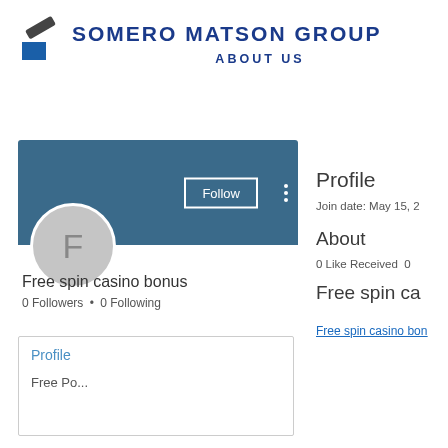[Figure (logo): Somero Matson Group logo with blue square and pencil icon]
SOMERO MATSON GROUP
ABOUT US
[Figure (screenshot): User profile card showing avatar with letter F, Follow button, username Free spin casino bonus, 0 Followers and 0 Following]
Free spin casino bonus
0 Followers • 0 Following
Profile
Join date: May 15, 2
About
0 Like Received   0
Free spin ca
Free spin casino bor